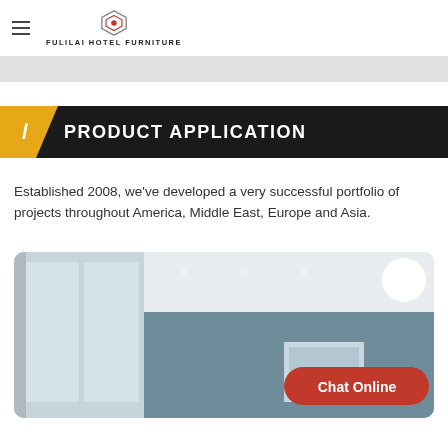FULILAI HOTEL FURNITURE
/ PRODUCT APPLICATION
Established 2008, we've developed a very successful portfolio of projects throughout America, Middle East, Europe and Asia.
[Figure (photo): Interior room photo showing a hotel room corner with large windows, curtains, grey-blue wall, and a framed artwork. A Chat Online button overlay is visible.]